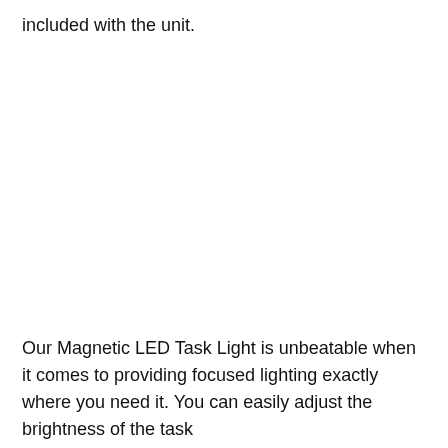included with the unit.
Our Magnetic LED Task Light is unbeatable when it comes to providing focused lighting exactly where you need it. You can easily adjust the brightness of the task